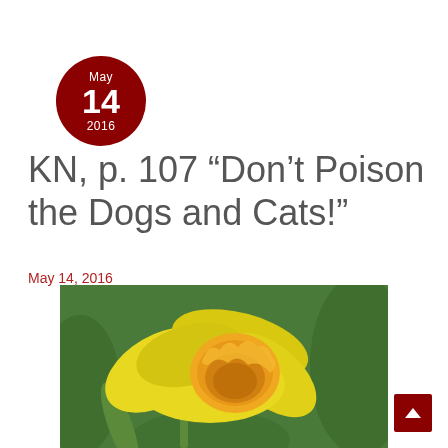[Figure (other): Dark red circular date badge showing 'May 14 2016']
KN, p. 107 “Don’t Poison the Dogs and Cats!”
May 14, 2016
[Figure (photo): Close-up photo of a yellow daffodil flower with green foliage background]